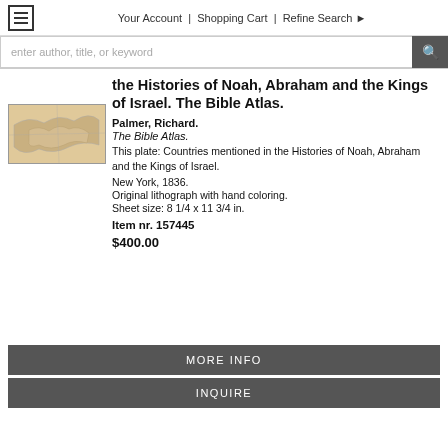≡   Your Account  |  Shopping Cart  |  Refine Search ▶
enter author, title, or keyword
[Figure (photo): Thumbnail image of an antique map showing countries of the Middle East in muted beige and brown tones.]
the Histories of Noah, Abraham and the Kings of Israel. The Bible Atlas.
Palmer, Richard.
The Bible Atlas.
This plate: Countries mentioned in the Histories of Noah, Abraham and the Kings of Israel.
New York, 1836.
Original lithograph with hand coloring.
Sheet size: 8 1/4 x 11 3/4 in.
Item nr. 157445
$400.00
MORE INFO
INQUIRE